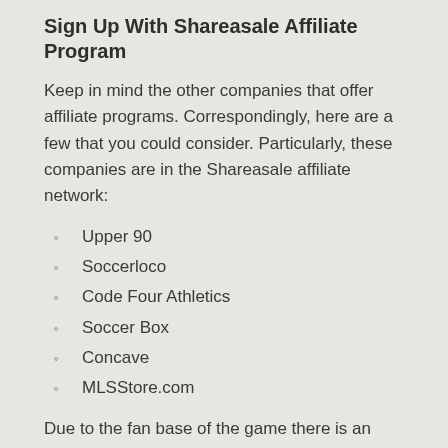Sign Up With Shareasale Affiliate Program
Keep in mind the other companies that offer affiliate programs. Correspondingly, here are a few that you could consider. Particularly, these companies are in the Shareasale affiliate network:
Upper 90
Soccerloco
Code Four Athletics
Soccer Box
Concave
MLSStore.com
Due to the fan base of the game there is an